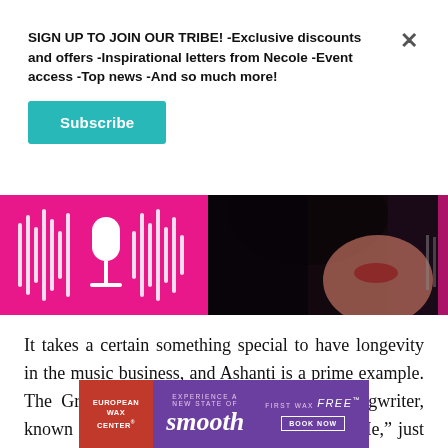SIGN UP TO JOIN OUR TRIBE! -Exclusive discounts and offers -Inspirational letters from Necole -Event access -Top news -And so much more!
Subscribe
[Figure (photo): Hero banner with pink/magenta background showing a microphone graphic on the left and a woman's face (Ashanti) on the right against a dark background]
It takes a certain something special to have longevity in the music business, and Ashanti is a prime example. The Grammy Award-winning singer and songwriter, known for hits like "Foolish" and "Rain On Me," just celebrated the 20th anniversary
[Figure (advertisement): European Wax Center advertisement with purple background. Left red section shows 'EUROPEAN WAX CENTER' logo. Center shows 'EXPERIENCE A NEW STATE OF smooth'. Right shows 'FIRST WAX free BOOK NOW']